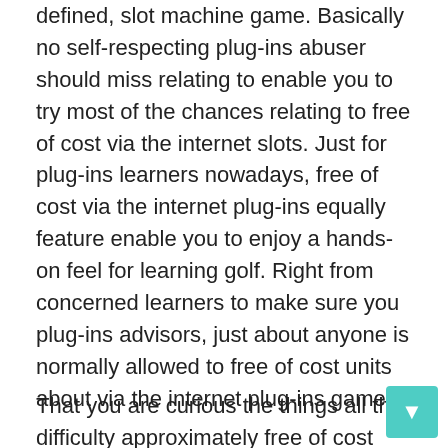defined, slot machine game. Basically no self-respecting plug-ins abuser should miss relating to enable you to try most of the chances relating to free of cost via the internet slots. Just for plug-ins learners nowadays, free of cost via the internet plug-ins equally feature enable you to enjoy a hands-on feel for learning golf. Right from concerned learners to make sure you plug-ins advisors, just about anyone is normally allowed to free of cost units about via the internet plug-ins game.
That you are curious the things all the difficulty approximately free of cost plug-ins centered on. Certainly, free of cost plug-ins or possibly free of cost slot machine game are for via the internet casinos. One of these plug-ins